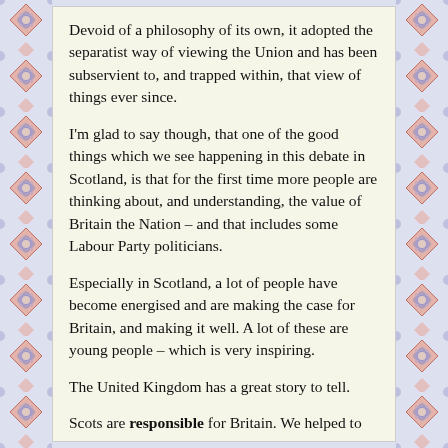Devoid of a philosophy of its own, it adopted the separatist way of viewing the Union and has been subservient to, and trapped within, that view of things ever since.
I'm glad to say though, that one of the good things which we see happening in this debate in Scotland, is that for the first time more people are thinking about, and understanding, the value of Britain the Nation – and that includes some Labour Party politicians.
Especially in Scotland, a lot of people have become energised and are making the case for Britain, and making it well. A lot of these are young people – which is very inspiring.
The United Kingdom has a great story to tell.
Scots are responsible for Britain. We helped to create it – along with the English, Northern Irish and Welsh.
It is our Baby. We take responsibility for it. We don't walk away from it.